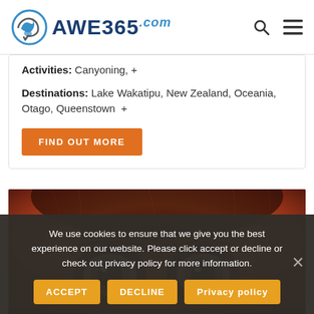AWE365.com
Activities: Canyoning, +
Destinations: Lake Wakatipu, New Zealand, Oceania, Otago, Queenstown +
FIND OUT MORE
[Figure (photo): Close-up photograph of an orangutan's eyes and forehead with reddish-brown fur]
We use cookies to ensure that we give you the best experience on our website. Please click accept or decline or check out privacy policy for more information.
ACCEPT | DECLINE | Privacy policy